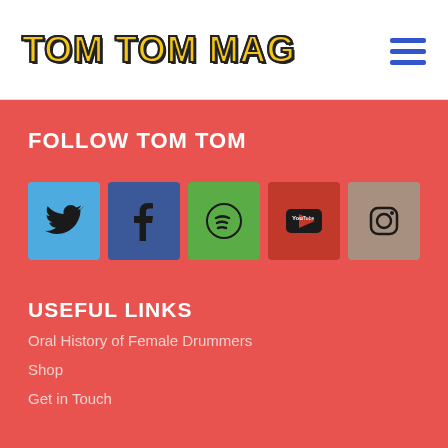TOM TOM MAG
FOLLOW TOM TOM
[Figure (infographic): Row of five social media icon buttons: Twitter (blue bird), Facebook (blue f), Spotify (green musical note), YouTube (red play button), Instagram (camera icon)]
USEFUL LINKS
Oral History of Female Drummers
Shop
Get in Touch